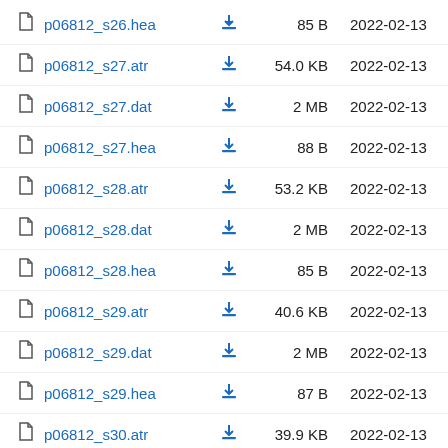p06812_s26.hea  85 B  2022-02-13
p06812_s27.atr  54.0 KB  2022-02-13
p06812_s27.dat  2 MB  2022-02-13
p06812_s27.hea  88 B  2022-02-13
p06812_s28.atr  53.2 KB  2022-02-13
p06812_s28.dat  2 MB  2022-02-13
p06812_s28.hea  85 B  2022-02-13
p06812_s29.atr  40.6 KB  2022-02-13
p06812_s29.dat  2 MB  2022-02-13
p06812_s29.hea  87 B  2022-02-13
p06812_s30.atr  39.9 KB  2022-02-13
p06812_s30.dat  2 MB  2022-02-13
p06812_s30.hea  87 B  2022-02-13
p06812_s31.atr  36.3 KB  2022-02-13